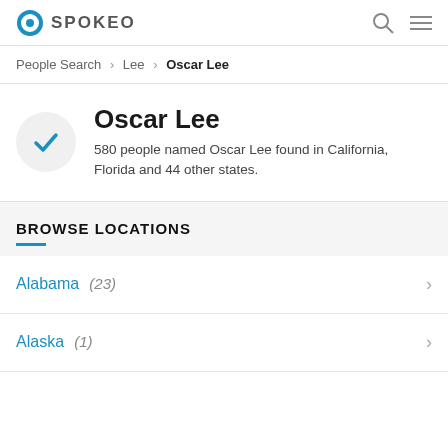SPOKEO
People Search > Lee > Oscar Lee
Oscar Lee
580 people named Oscar Lee found in California, Florida and 44 other states.
BROWSE LOCATIONS
Alabama (23)
Alaska (1)